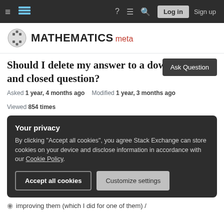Mathematics Meta navigation bar with Log in and Sign up buttons
MATHEMATICS meta
Ask Question
Should I delete my answer to a downvoted and closed question?
Asked 1 year, 4 months ago   Modified 1 year, 3 months ago   Viewed 854 times
Your privacy
By clicking "Accept all cookies", you agree Stack Exchange can store cookies on your device and disclose information in accordance with our Cookie Policy.
Accept all cookies   Customize settings
improving them (which I did for one of them) /